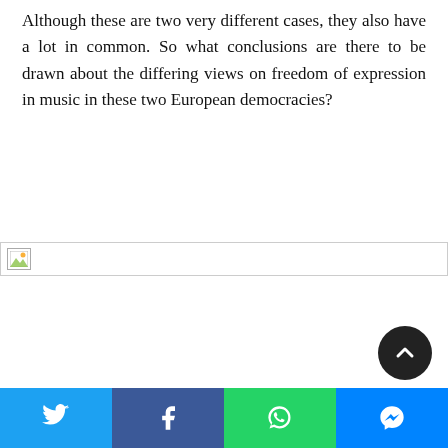Although these are two very different cases, they also have a lot in common. So what conclusions are there to be drawn about the differing views on freedom of expression in music in these two European democracies?
[Figure (other): Broken image placeholder — a failed image load represented by a broken image icon in the top-left corner of a white rectangle spanning the page width]
[Figure (other): Dark circular scroll-to-top button with upward chevron arrow]
[Figure (other): Social sharing bar with four buttons: Twitter (blue), Facebook (dark blue), WhatsApp (green), Messenger (blue)]